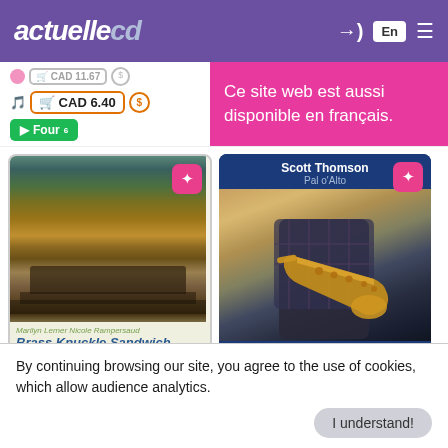actuellecd — En
CAD 11.67 | CAD 6.40
Ce site web est aussi disponible en français.
[Figure (photo): Album cover for Brass Knuckle Sandwich by Marilyn Lerner & Nicole Rampersaud — abstract rust/teal industrial bridge texture]
[Figure (photo): Album cover for Pal o'Alto by Scott Thomson — person in plaid shirt holding a gold saxophone, with collaborators Yves Charuest, Karen Ng, Jean Derome, John Oswald]
Brass Knuckle Sandwich
Pal o'Alto
By continuing browsing our site, you agree to the use of cookies, which allow audience analytics.
I understand!